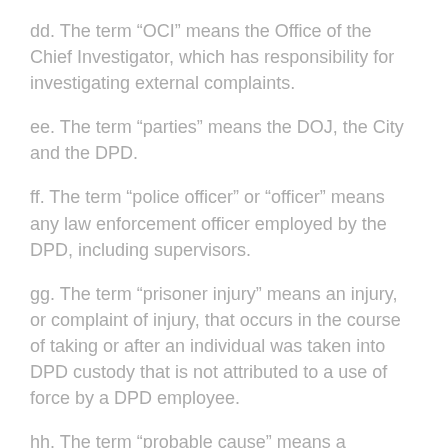dd. The term “OCI” means the Office of the Chief Investigator, which has responsibility for investigating external complaints.
ee. The term “parties” means the DOJ, the City and the DPD.
ff. The term “police officer” or “officer” means any law enforcement officer employed by the DPD, including supervisors.
gg. The term “prisoner injury” means an injury, or complaint of injury, that occurs in the course of taking or after an individual was taken into DPD custody that is not attributed to a use of force by a DPD employee.
hh. The term “probable cause” means a reasonable belief that an individual has committed or is in the process of committing